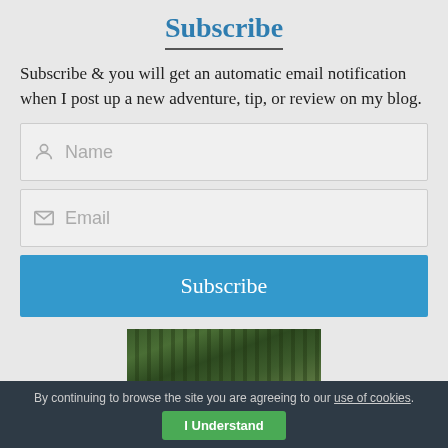Subscribe
Subscribe & you will get an automatic email notification when I post up a new adventure, tip, or review on my blog.
[Figure (screenshot): Name input field with person icon placeholder]
[Figure (screenshot): Email input field with envelope icon placeholder]
[Figure (screenshot): Subscribe button in blue]
[Figure (photo): Forest/trees photo partially visible]
By continuing to browse the site you are agreeing to our use of cookies.
I Understand